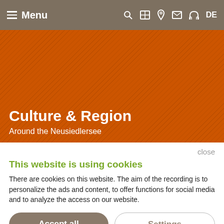Menu | search video location mail phone DE
[Figure (screenshot): Orange hero banner with diagonal texture pattern]
Culture & Region
Around the Neusiedlersee
close
This website is using cookies
There are cookies on this website. The aim of the recording is to personalize the ads and content, to offer functions for social media and to analyze the access on our website.
Accept all
Settings
Tool made by ncm.at